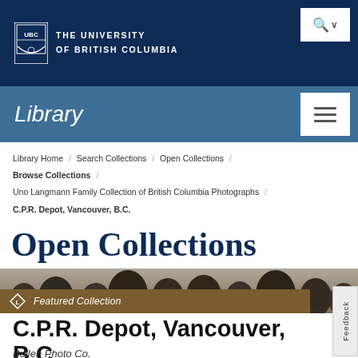THE UNIVERSITY OF BRITISH COLUMBIA
Library
Library Home / Search Collections / Open Collections / Browse Collections / Uno Langmann Family Collection of British Columbia Photographs /
C.P.R. Depot, Vancouver, B.C.
Open Collections
Featured Collection
C.P.R. Depot, Vancouver, B.C.
Bullen Photo Co.